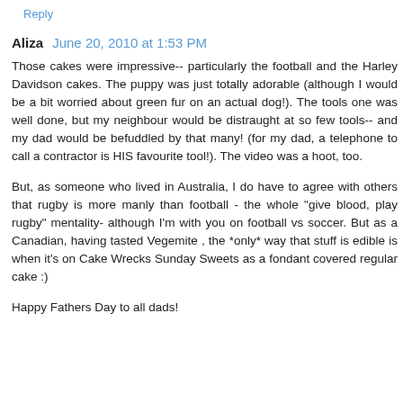Reply
Aliza  June 20, 2010 at 1:53 PM
Those cakes were impressive-- particularly the football and the Harley Davidson cakes. The puppy was just totally adorable (although I would be a bit worried about green fur on an actual dog!). The tools one was well done, but my neighbour would be distraught at so few tools-- and my dad would be befuddled by that many! (for my dad, a telephone to call a contractor is HIS favourite tool!). The video was a hoot, too.
But, as someone who lived in Australia, I do have to agree with others that rugby is more manly than football - the whole "give blood, play rugby" mentality- although I'm with you on football vs soccer. But as a Canadian, having tasted Vegemite , the *only* way that stuff is edible is when it's on Cake Wrecks Sunday Sweets as a fondant covered regular cake :)
Happy Fathers Day to all dads!